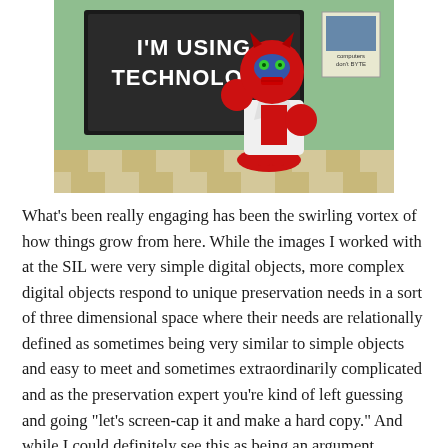[Figure (illustration): Cartoon illustration of a red robot/villain character in a white lab coat standing in front of a green classroom with a black chalkboard that reads 'I'M USING TECHNOLOGY'. A small poster on the wall says 'computers don't BYTE'.]
What's been really engaging has been the swirling vortex of how things grow from here. While the images I worked with at the SIL were very simple digital objects, more complex digital objects respond to unique preservation needs in a sort of three dimensional space where their needs are relationally defined as sometimes being very similar to simple objects and easy to meet and sometimes extraordinarily complicated and as the preservation expert you're kind of left guessing and going "let's screen-cap it and make a hard copy." And while I could definitely see this as being an argument